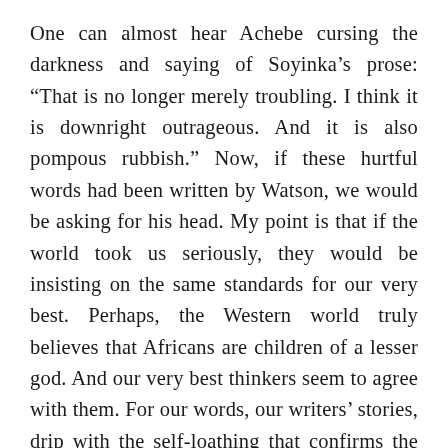One can almost hear Achebe cursing the darkness and saying of Soyinka's prose: “That is no longer merely troubling. I think it is downright outrageous. And it is also pompous rubbish.” Now, if these hurtful words had been written by Watson, we would be asking for his head. My point is that if the world took us seriously, they would be insisting on the same standards for our very best. Perhaps, the Western world truly believes that Africans are children of a lesser god. And our very best thinkers seem to agree with them. For our words, our writers’ stories, drip with the self-loathing that confirms the worst hiding in other people’s dark hearts.